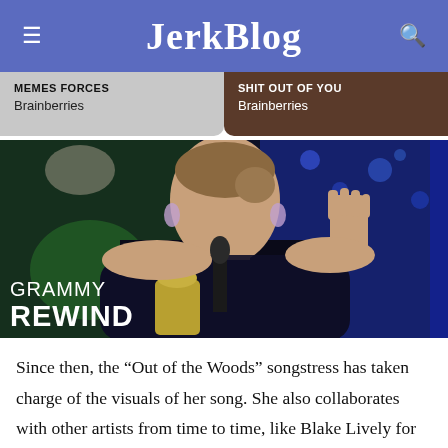JerkBlog
MEMES FORCES
Brainberries
SHIT OUT OF YOU
Brainberries
[Figure (photo): A woman in a dark off-shoulder dress accepting an award at what appears to be the Grammy Awards, raising one hand in a wave, with a 'GRAMMY REWIND' text overlay in the lower left corner.]
Since then, the “Out of the Woods” songstress has taken charge of the visuals of her song. She also collaborates with other artists from time to time, like Blake Lively for “I Bet You